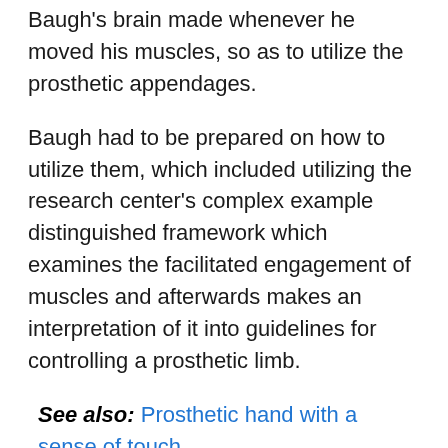Baugh's brain made whenever he moved his muscles, so as to utilize the prosthetic appendages.
Baugh had to be prepared on how to utilize them, which included utilizing the research center's complex example distinguished framework which examines the facilitated engagement of muscles and afterwards makes an interpretation of it into guidelines for controlling a prosthetic limb.
See also: Prosthetic hand with a sense of touch
As his arms had been cut off from the shoulders, Baugh additionally must be fitted with a custom